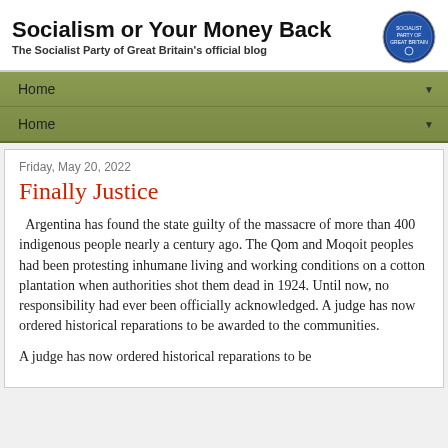Socialism or Your Money Back — The Socialist Party of Great Britain's official blog
Home
Home
Friday, May 20, 2022
Finally Justice
Argentina has found the state guilty of the massacre of more than 400 indigenous people nearly a century ago. The Qom and Moqoit peoples had been protesting inhumane living and working conditions on a cotton plantation when authorities shot them dead in 1924. Until now, no responsibility had ever been officially acknowledged. A judge has now ordered historical reparations to be awarded to the communities.
A judge has now ordered historical reparations to be